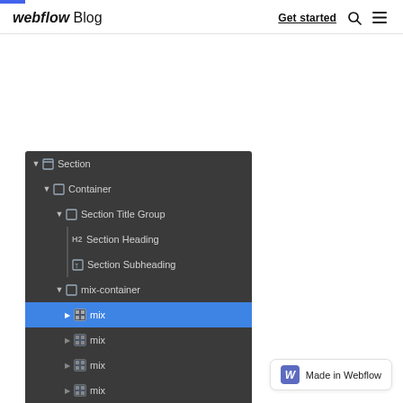webflow Blog — Get started
[Figure (screenshot): Webflow designer navigator panel showing a tree structure: Section > Container > Section Title Group (H2 Section Heading, Section Subheading) > mix-container > mix (selected, highlighted blue) > mix > mix > mix > mix > mix]
Made in Webflow